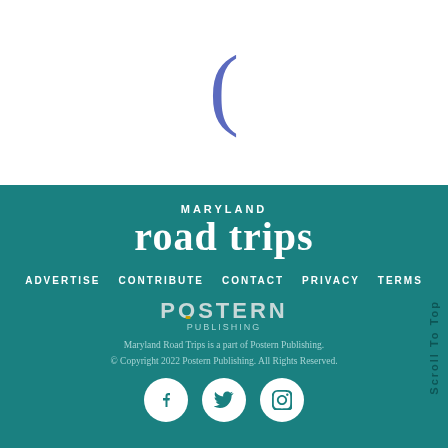[Figure (logo): Blue open parenthesis symbol on white background]
[Figure (logo): Maryland Road Trips logo in white text on teal background]
ADVERTISE   CONTRIBUTE   CONTACT   PRIVACY   TERMS
[Figure (logo): Postern Publishing logo in muted teal text]
Maryland Road Trips is a part of Postern Publishing.
© Copyright 2022 Postern Publishing. All Rights Reserved.
[Figure (illustration): Social media icons: Facebook, Twitter, Instagram in white circles on teal background]
Scroll To Top